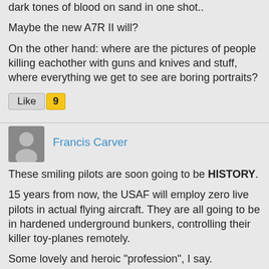dark tones of blood on sand in one shot..
Maybe the new A7R II will?
On the other hand: where are the pictures of people killing eachother with guns and knives and stuff, where everything we get to see are boring portraits?
Like 9
Francis Carver
These smiling pilots are soon going to be HISTORY.
15 years from now, the USAF will employ zero live pilots in actual flying aircraft. They are all going to be in hardened underground bunkers, controlling their killer toy-planes remotely.
Some lovely and heroic "profession", I say.
Like 4